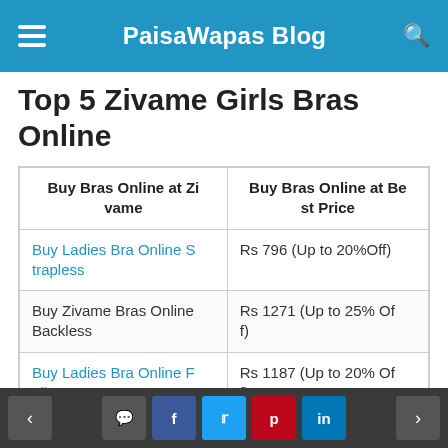PaisaWapas Blog
Top 5 Zivame Girls Bras Online
| Buy Bras Online at Zivame | Buy Bras Online at Best Price |
| --- | --- |
| Buy Ladies Bra Online Strapless | Rs 796 (Up to 20%Off) |
| Buy Zivame Bras Online Backless | Rs 1271 (Up to 25% Off) |
| Buy Ladies Bra Online Full Coverage | Rs 1187 (Up to 20% Off) |
| Buy Zivame Bras Online Half Coverage | Rs 971 (Up to 30% Off) |